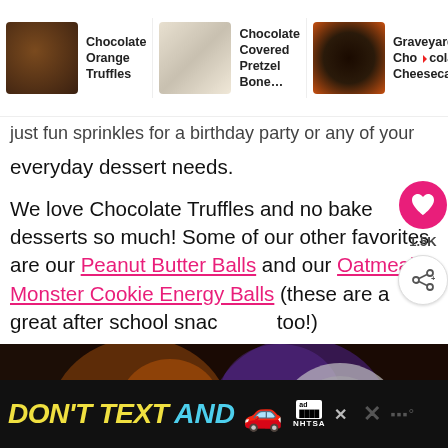[Figure (screenshot): Navigation bar with three recipe thumbnails: Chocolate Orange Truffles, Chocolate Covered Pretzel Bone..., Graveyard Chocolate Cheesecake]
just fun sprinkles for a birthday party or any of your everyday dessert needs.
We love Chocolate Truffles and no bake desserts so much! Some of our other favorites are our Peanut Butter Balls and our Oatmeal Monster Cookie Energy Balls (these are a great after school snack too!)
[Figure (photo): Close-up food photo showing chocolate truffles or dessert balls on a plate]
[Figure (screenshot): Ad banner: DON'T TEXT AND [car emoji] NHTSA advertisement on black background]